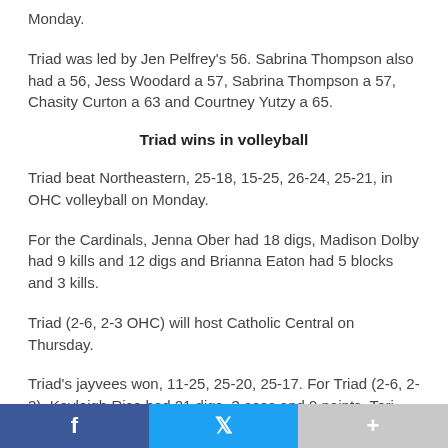Monday.
Triad was led by Jen Pelfrey's 56. Sabrina Thompson also had a 56, Jess Woodard a 57, Sabrina Thompson a 57, Chasity Curton a 63 and Courtney Yutzy a 65.
Triad wins in volleyball
Triad beat Northeastern, 25-18, 15-25, 26-24, 25-21, in OHC volleyball on Monday.
For the Cardinals, Jenna Ober had 18 digs, Madison Dolby had 9 kills and 12 digs and Brianna Eaton had 5 blocks and 3 kills.
Triad (2-6, 2-3 OHC) will host Catholic Central on Thursday.
Triad's jayvees won, 11-25, 25-20, 25-17. For Triad (2-6, 2-3), Kayleigh Rice had 21 digs, 3 aces and 9 points. Tori Thomas